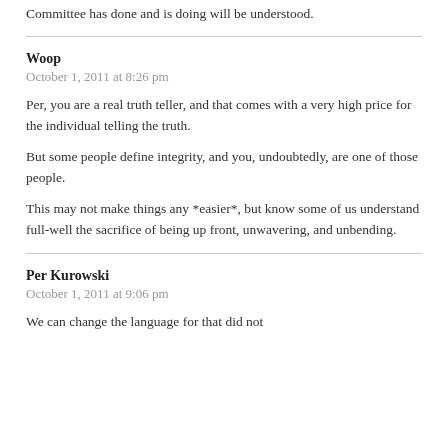Committee has done and is doing will be understood.
Woop
October 1, 2011 at 8:26 pm
Per, you are a real truth teller, and that comes with a very high price for the individual telling the truth.
But some people define integrity, and you, undoubtedly, are one of those people.
This may not make things any *easier*, but know some of us understand full-well the sacrifice of being up front, unwavering, and unbending.
Per Kurowski
October 1, 2011 at 9:06 pm
We can change the language for that did not...